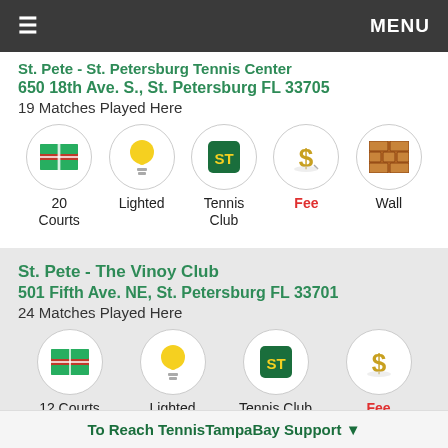≡  MENU
St. Pete - St. Petersburg Tennis Center
650 18th Ave. S., St. Petersburg FL 33705
19 Matches Played Here
[Figure (infographic): Icons row: 20 Courts (tennis court icon), Lighted (lightbulb icon), Tennis Club (ST badge icon), Fee (dollar sign icon, red label), Wall (brick wall icon)]
St. Pete - The Vinoy Club
501 Fifth Ave. NE, St. Petersburg FL 33701
24 Matches Played Here
[Figure (infographic): Icons row: 12 Courts (tennis court icon), Lighted (lightbulb icon), Tennis Club (ST badge icon), Fee (dollar sign icon, red label)]
To Reach TennisTampaBay Support ▼